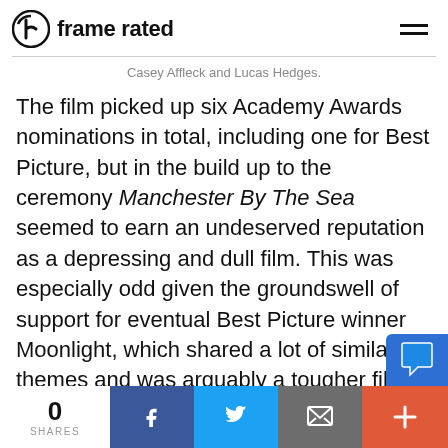frame rated
Casey Affleck and Lucas Hedges.
The film picked up six Academy Awards nominations in total, including one for Best Picture, but in the build up to the ceremony Manchester By The Sea seemed to earn an undeserved reputation as a depressing and dull film. This was especially odd given the groundswell of support for eventual Best Picture winner Moonlight, which shared a lot of similar themes and was arguably a tougher film to get through. In reality, Lonergan has delivered a masterclass in precision filmmaking; showcasi
0 SHARES | Facebook | Twitter | Email | More